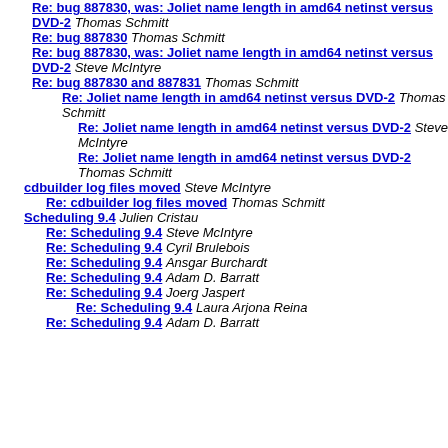Re: bug 887830, was: Joliet name length in amd64 netinst versus DVD-2 Thomas Schmitt
Re: bug 887830 Thomas Schmitt
Re: bug 887830, was: Joliet name length in amd64 netinst versus DVD-2 Steve McIntyre
Re: bug 887830 and 887831 Thomas Schmitt
Re: Joliet name length in amd64 netinst versus DVD-2 Thomas Schmitt
Re: Joliet name length in amd64 netinst versus DVD-2 Steve McIntyre
Re: Joliet name length in amd64 netinst versus DVD-2 Thomas Schmitt
cdbuilder log files moved Steve McIntyre
Re: cdbuilder log files moved Thomas Schmitt
Scheduling 9.4 Julien Cristau
Re: Scheduling 9.4 Steve McIntyre
Re: Scheduling 9.4 Cyril Brulebois
Re: Scheduling 9.4 Ansgar Burchardt
Re: Scheduling 9.4 Adam D. Barratt
Re: Scheduling 9.4 Joerg Jaspert
Re: Scheduling 9.4 Laura Arjona Reina
Re: Scheduling 9.4 Adam D. Barratt